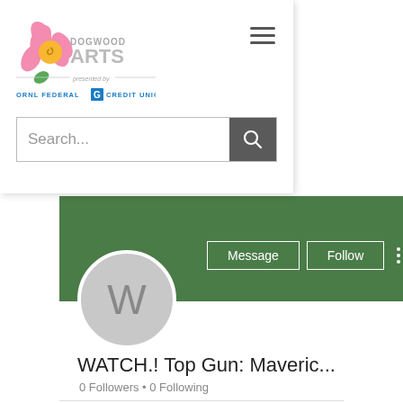[Figure (logo): Dogwood Arts festival logo with flower graphic, presented by ORNL Federal Credit Union]
[Figure (other): Hamburger menu icon (three horizontal lines)]
Search...
[Figure (screenshot): Green profile banner with Message and Follow buttons and three-dot menu]
[Figure (other): User profile avatar circle with letter W]
WATCH.! Top Gun: Maveric...
0 Followers • 0 Following